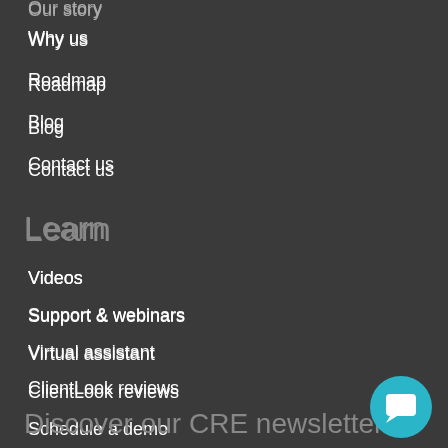Our story
Why us
Roadmap
Blog
Contact us
Learn
Videos
Support & webinars
Virtual assistant
ClientLook reviews
Schedule a demo
Discover our CRE newsletter
[Figure (illustration): Teal circular chat button with speech bubble icon in bottom right corner]